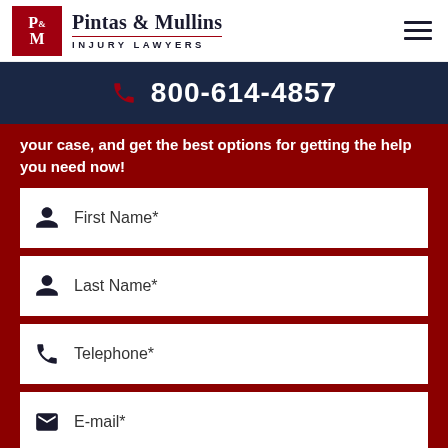[Figure (logo): Pintas & Mullins Injury Lawyers logo with red P&M badge and firm name]
800-614-4857
your case, and get the best options for getting the help you need now!
First Name*
Last Name*
Telephone*
E-mail*
Tell us about your case*